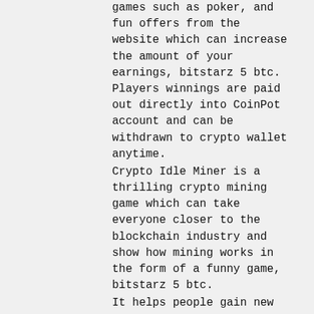games such as poker, and fun offers from the website which can increase the amount of your earnings, bitstarz 5 btc. Players winnings are paid out directly into CoinPot account and can be withdrawn to crypto wallet anytime.
Crypto Idle Miner is a thrilling crypto mining game which can take everyone closer to the blockchain industry and show how mining works in the form of a funny game, bitstarz 5 btc.
It helps people gain new skills by way of rewarding certain types of behavior, bitstarz 5 btc. For example, you can assist customers in molding their skills in money-saving. Introducing more complex concepts.
Bitstarz28 casino
84 votes, 88 comments. Edit: my withdrawal has been paid in full!! thank you bitstarz! 684 btc games; high-quality